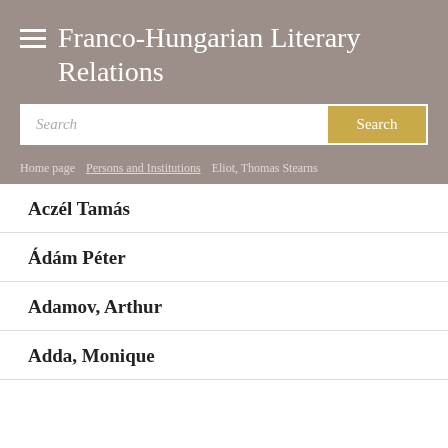Franco-Hungarian Literary Relations
Search
Home page / Persons and Institutions / Eliot, Thomas Stearns
Aczél Tamás
Ádám Péter
Adamov, Arthur
Adda, Monique